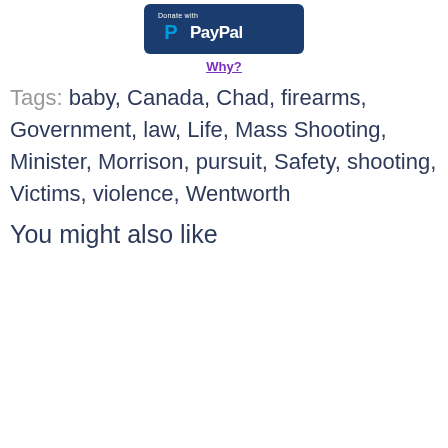[Figure (logo): PayPal donate button — dark blue rounded rectangle with PayPal logo and 'Donate with PayPal' text]
Why?
Tags: baby, Canada, Chad, firearms, Government, law, Life, Mass Shooting, Minister, Morrison, pursuit, Safety, shooting, Victims, violence, Wentworth
You might also like